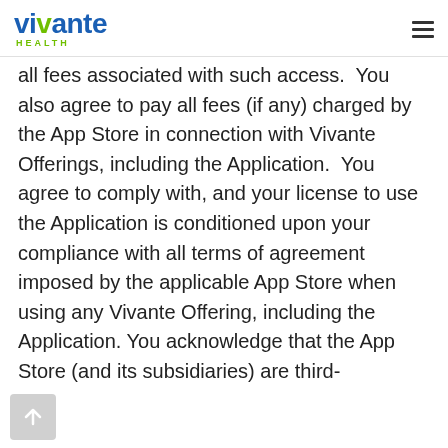Vivante Health
all fees associated with such access.  You also agree to pay all fees (if any) charged by the App Store in connection with Vivante Offerings, including the Application.  You agree to comply with, and your license to use the Application is conditioned upon your compliance with all terms of agreement imposed by the applicable App Store when using any Vivante Offering, including the Application. You acknowledge that the App Store (and its subsidiaries) are third-